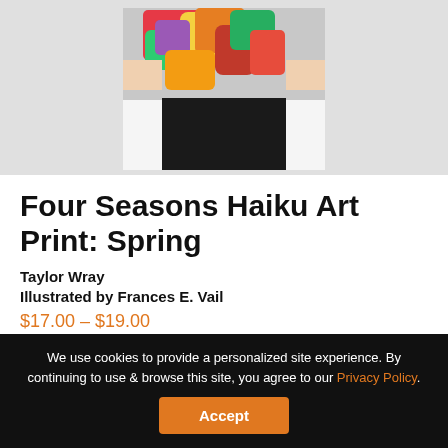[Figure (photo): Person holding a floral print art product, showing colorful floral top and black skirt/bottom portion, against a light gray background]
Four Seasons Haiku Art Print: Spring
Taylor Wray
Illustrated by Frances E. Vail
$17.00 – $19.00
Welcome, spring! Bring the outdoors into your home with Frances Vail's beautiful artwork and Taylor Wray's moving words. This beautiful print...
We use cookies to provide a personalized site experience. By continuing to use & browse this site, you agree to our Privacy Policy.